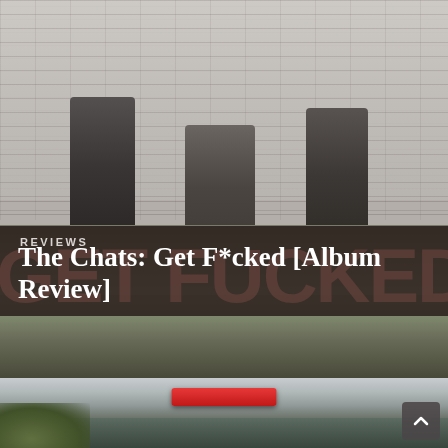[Figure (photo): Black and white photo of three people standing against a brick wall, giving the middle finger, with grass in the foreground. Background text reads GET FUCKED in large distressed letters.]
REVIEWS
The Chats: Get F*cked [Album Review]
[Figure (photo): Partial view of a car roof with a red object on top, and green foliage visible at bottom left. A scroll-up arrow button is in the bottom right corner.]